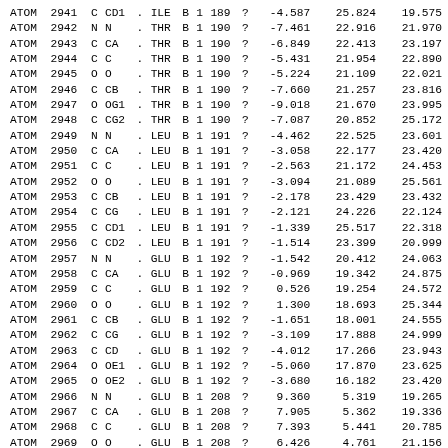| type | serial | el | name | alt | res | chain | model | seqnum | ins | x | y | z |
| --- | --- | --- | --- | --- | --- | --- | --- | --- | --- | --- | --- | --- |
| ATOM | 2941 | C | CD1 | . | ILE | B | 1 | 189 | ? | -4.587 | 25.824 | 19.575 |
| ATOM | 2942 | N | N | . | THR | B | 1 | 190 | ? | -7.461 | 22.916 | 21.970 |
| ATOM | 2943 | C | CA | . | THR | B | 1 | 190 | ? | -6.849 | 22.413 | 23.197 |
| ATOM | 2944 | C | C | . | THR | B | 1 | 190 | ? | -5.431 | 21.954 | 22.890 |
| ATOM | 2945 | O | O | . | THR | B | 1 | 190 | ? | -5.224 | 21.109 | 22.021 |
| ATOM | 2946 | C | CB | . | THR | B | 1 | 190 | ? | -7.660 | 21.257 | 23.816 |
| ATOM | 2947 | O | OG1 | . | THR | B | 1 | 190 | ? | -9.018 | 21.670 | 23.995 |
| ATOM | 2948 | C | CG2 | . | THR | B | 1 | 190 | ? | -7.087 | 20.852 | 25.172 |
| ATOM | 2949 | N | N | . | LEU | B | 1 | 191 | ? | -4.462 | 22.525 | 23.601 |
| ATOM | 2950 | C | CA | . | LEU | B | 1 | 191 | ? | -3.058 | 22.177 | 23.420 |
| ATOM | 2951 | C | C | . | LEU | B | 1 | 191 | ? | -2.563 | 21.172 | 24.453 |
| ATOM | 2952 | O | O | . | LEU | B | 1 | 191 | ? | -3.094 | 21.089 | 25.561 |
| ATOM | 2953 | C | CB | . | LEU | B | 1 | 191 | ? | -2.178 | 23.429 | 23.432 |
| ATOM | 2954 | C | CG | . | LEU | B | 1 | 191 | ? | -2.121 | 24.226 | 22.124 |
| ATOM | 2955 | C | CD1 | . | LEU | B | 1 | 191 | ? | -1.339 | 25.517 | 22.318 |
| ATOM | 2956 | C | CD2 | . | LEU | B | 1 | 191 | ? | -1.514 | 23.399 | 20.999 |
| ATOM | 2957 | N | N | . | GLU | B | 1 | 192 | ? | -1.542 | 20.412 | 24.063 |
| ATOM | 2958 | C | CA | . | GLU | B | 1 | 192 | ? | -0.969 | 19.342 | 24.875 |
| ATOM | 2959 | C | C | . | GLU | B | 1 | 192 | ? | 0.526 | 19.254 | 24.572 |
| ATOM | 2960 | O | O | . | GLU | B | 1 | 192 | ? | 1.300 | 18.693 | 25.344 |
| ATOM | 2961 | C | CB | . | GLU | B | 1 | 192 | ? | -1.651 | 18.001 | 24.555 |
| ATOM | 2962 | C | CG | . | GLU | B | 1 | 192 | ? | -3.109 | 17.888 | 24.999 |
| ATOM | 2963 | C | CD | . | GLU | B | 1 | 192 | ? | -4.012 | 17.266 | 23.943 |
| ATOM | 2964 | O | OE1 | . | GLU | B | 1 | 192 | ? | -5.060 | 17.870 | 23.625 |
| ATOM | 2965 | O | OE2 | . | GLU | B | 1 | 192 | ? | -3.680 | 16.182 | 23.420 |
| ATOM | 2966 | N | N | . | GLU | B | 1 | 208 | ? | 9.360 | 5.319 | 19.265 |
| ATOM | 2967 | C | CA | . | GLU | B | 1 | 208 | ? | 7.905 | 5.362 | 19.336 |
| ATOM | 2968 | C | C | . | GLU | B | 1 | 208 | ? | 7.393 | 5.441 | 20.785 |
| ATOM | 2969 | O | O | . | GLU | B | 1 | 208 | ? | 6.426 | 4.761 | 21.156 |
| ATOM | 2970 | C | CB | . | GLU | B | 1 | 208 | ? | 7.302 | 4.172 | 18.601 |